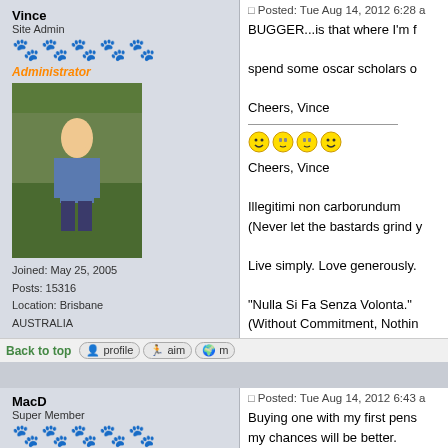Vince
Site Admin
Administrator
Joined: May 25, 2005
Posts: 15316
Location: Brisbane AUSTRALIA
Posted: Tue Aug 14, 2012 6:28 a
BUGGER...is that where I'm f
spend some oscar scholars o
Cheers, Vince
Cheers, Vince
Illégitimi non carborundum
(Never let the bastards grind y
Live simply. Love generously.
"Nulla Si Fa Senza Volonta."
(Without Commitment, Nothin
Back to top
MacD
Super Member
Joined: Apr 08, 2011
Posted: Tue Aug 14, 2012 6:43 a
Buying one with my first pens
my chances will be better.
La a'Blair s'math n Cairdean
(Friends are good on the da